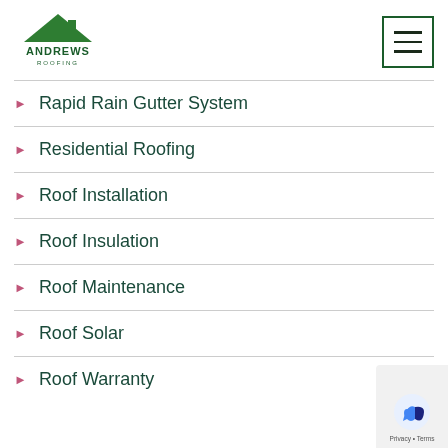[Figure (logo): Andrews Roofing company logo — green triangular roof shape with ANDREWS text]
Rapid Rain Gutter System
Residential Roofing
Roof Installation
Roof Insulation
Roof Maintenance
Roof Solar
Roof Warranty